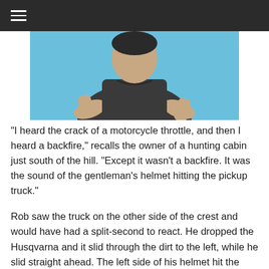≡ (navigation menu)
[Figure (photo): Person photographed from the waist up against a light blue sky background, wearing a dark shirt, arms visible.]
“I heard the crack of a motorcycle throttle, and then I heard a backfire,” recalls the owner of a hunting cabin just south of the hill. “Except it wasn’t a backfire. It was the sound of the gentleman’s helmet hitting the pickup truck.”
Rob saw the truck on the other side of the crest and would have had a split-second to react. He dropped the Husqvarna and it slid through the dirt to the left, while he slid straight ahead. The left side of his helmet hit the driver’s-side bumper of the blue Ford F-150. The truck had been driving slowly but the driver slammed on the brakes and was almost at a standstill for the collision. All the force of the impact was in Rob’s speed and it was a head-on crash. All the Kevlar, all the